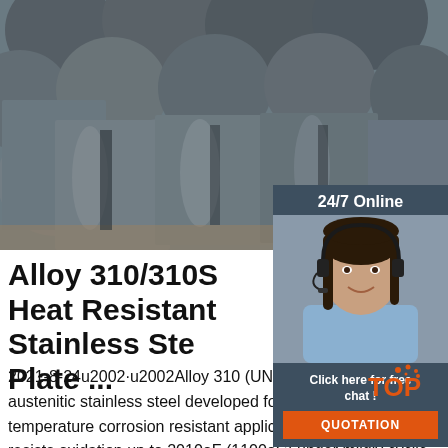[Figure (photo): Stack of cylindrical steel round bars, grey metallic surface, piled together]
[Figure (photo): 24/7 Online customer service sidebar with female agent wearing headset, dark blue-grey background, with 'Click here for free chat!' text and orange QUOTATION button]
Alloy 310/310S Heat Resistant Stainless Steel Plate ...
2021-8-24u2002·u2002Alloy 310 (UNS S31000) is an austenitic stainless steel developed for use in high temperature corrosion resistant applications. The alloy resists oxidation up to 2010oF (1100oC) under mildly cyclic conditions. Because of its high chromium and moderate nickel content, Alloy 310